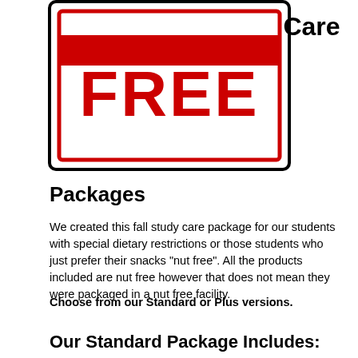[Figure (illustration): A red rubber stamp graphic showing the word FREE in bold red letters inside a bordered rectangle, positioned on the left side. To the upper right is the word 'Care' in bold black text.]
Packages
We created this fall study care package for our students with special dietary restrictions or those students who just prefer their snacks "nut free".  All the products included are nut free however that does not mean they were packaged in a nut free facility.
Choose from our Standard or Plus versions.
Our Standard Package Includes: